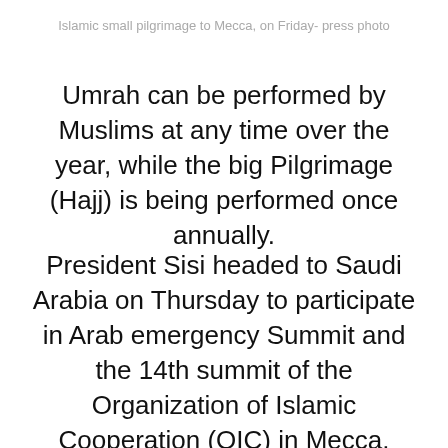Islamic small pilgrimage to Mecca, on Friday- press photo
Umrah can be performed by Muslims at any time over the year, while the big Pilgrimage (Hajj) is being performed once annually.
President Sisi headed to Saudi Arabia on Thursday to participate in Arab emergency Summit and the 14th summit of the Organization of Islamic Cooperation (OIC) in Mecca.